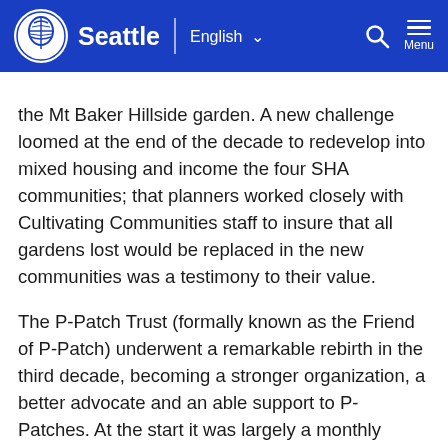Seattle | English Menu
the Mt Baker Hillside garden. A new challenge loomed at the end of the decade to redevelop into mixed housing and income the four SHA communities; that planners worked closely with Cultivating Communities staff to insure that all gardens lost would be replaced in the new communities was a testimony to their value.
The P-Patch Trust (formally known as the Friend of P-Patch) underwent a remarkable rebirth in the third decade, becoming a stronger organization, a better advocate and an able support to P-Patches. At the start it was largely a monthly gardening forum for representatives from each P-Patch. The Advisory Council as it was then called had a significant track record and already owned one P-Patch, Pinehurst, but as the number of gardens grew its size became unwieldy and